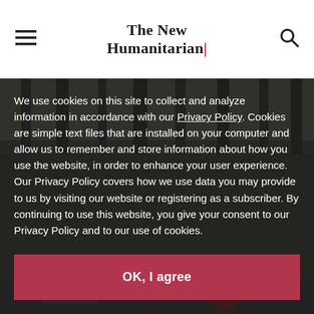The New Humanitarian
[Figure (photo): Background photograph of bare/dead trees in a field, partially visible behind a dark semi-transparent cookie consent overlay]
We use cookies on this site to collect and analyze information in accordance with our Privacy Policy. Cookies are simple text files that are installed on your computer and allow us to remember and store information about how you use the website, in order to enhance your user experience. Our Privacy Policy covers how we use data you may provide to us by visiting our website or registering as a subscriber. By continuing to use this website, you give your consent to our Privacy Policy and to our use of cookies.
OK, I agree